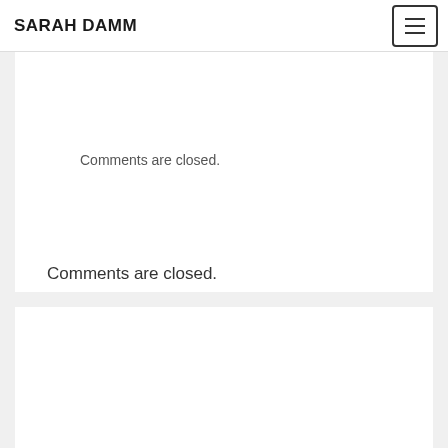SARAH DAMM
Comments are closed.
Comments are closed.
HELLO! WELCOME!
[Figure (photo): Portrait photo of a woman with dark hair against a brick wall background]